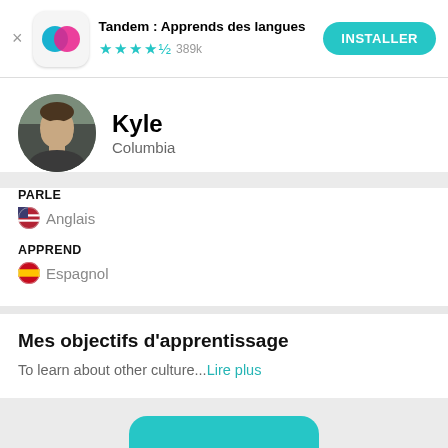Tandem : Apprends des langues ★★★★½ 389k INSTALLER
[Figure (screenshot): Circular profile photo of Kyle, a young man]
Kyle
Columbia
PARLE
🇺🇸 Anglais
APPREND
🇪🇸 Espagnol
Mes objectifs d'apprentissage
To learn about other culture...Lire plus